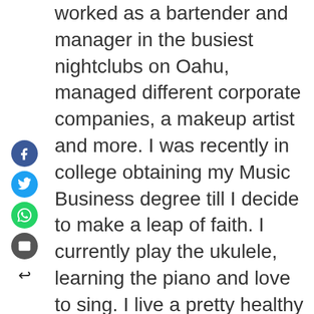[Figure (infographic): Social media sharing sidebar with Facebook, Twitter, WhatsApp, Email icons and a back arrow]
worked as a bartender and manager in the busiest nightclubs on Oahu, managed different corporate companies, a makeup artist and more. I was recently in college obtaining my Music Business degree till I decide to make a leap of faith. I currently play the ukulele, learning the piano and love to sing. I live a pretty healthy lifestyle and is very active. I am known to be energetic, spunky, witty and backed with a beautiful smile. I am 33 years old blessed with Hawaiian sun skin that makes me look younger than I am, 5'2 with nice tan skin, black